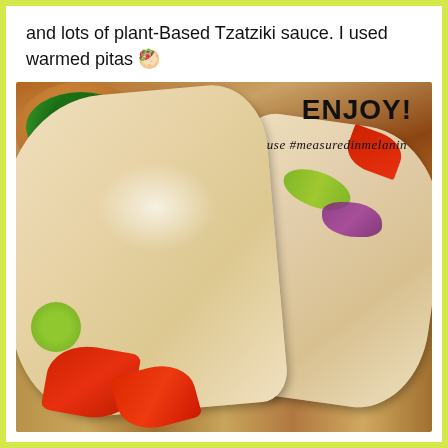and lots of plant-Based Tzatziki sauce. I used warmed pitas 🥙
[Figure (photo): Food photo showing two pita wraps filled with vegetables (tomatoes, cucumbers, lettuce, red onion), meat, and white tzatziki sauce, served on a wooden board with fresh tomato wedges and cucumber slices. A bowl of salad with lemon is visible in the top-left corner. Text overlay reads 'ENJOY!' and 'use #measuredinmelanin'.]